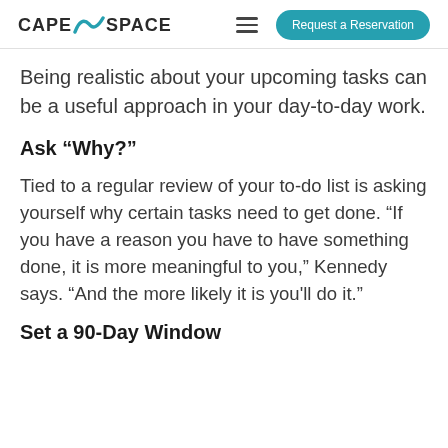CAPE N SPACE  Request a Reservation
Being realistic about your upcoming tasks can be a useful approach in your day-to-day work.
Ask “Why?”
Tied to a regular review of your to-do list is asking yourself why certain tasks need to get done. “If you have a reason you have to have something done, it is more meaningful to you,” Kennedy says. “And the more likely it is you'll do it.”
Set a 90-Day Window